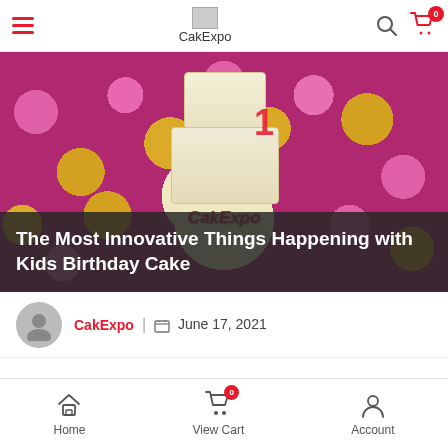CakExpo — hamburger menu, search, cart (0)
[Figure (photo): Kids birthday cake with teddy bear decorations surrounded by pink and gold balloons, with CakExpo watermark]
The Most Innovative Things Happening with Kids Birthday Cake
CakExpo | June 17, 2021
Home | View Cart (0) | Account